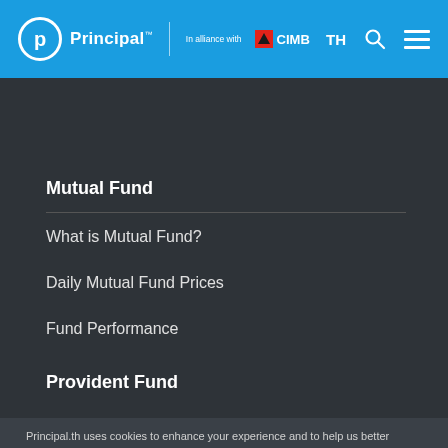Principal™ | In alliance with CIMB — TH
Mutual Fund
What is Mutual Fund?
Daily Mutual Fund Prices
Fund Performance
Provident Fund
Principal.th uses cookies to enhance your experience and to help us better understand how you use our website. You can view our Privacy Notice & Cookie Policy for more information. Privacy Notice & Cookie Policy